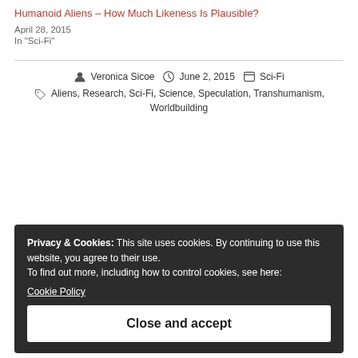Humanoid Aliens – How Much Likeness Is Plausible?
April 28, 2015
In "Sci-Fi"
Veronica Sicoe   June 2, 2015   Sci-Fi
Aliens, Research, Sci-Fi, Science, Speculation, Transhumanism, Worldbuilding
Privacy & Cookies: This site uses cookies. By continuing to use this website, you agree to their use. To find out more, including how to control cookies, see here:
Cookie Policy
Close and accept